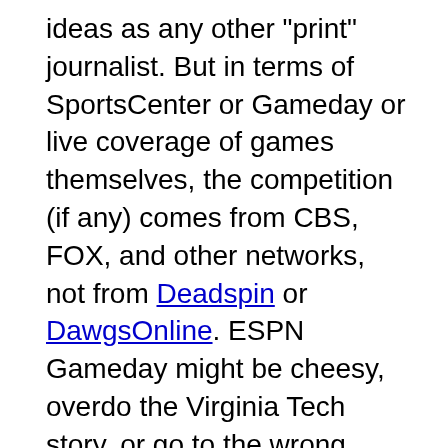ideas as any other "print" journalist. But in terms of SportsCenter or Gameday or live coverage of games themselves, the competition (if any) comes from CBS, FOX, and other networks, not from Deadspin or DawgsOnline. ESPN Gameday might be cheesy, overdo the Virginia Tech story, or go to the wrong game. Who cares? We'll watch anyway. Eyeballs and ratings – not well-crafted blog missives – are what drives ESPN. When someone carries more games or provides a better alternative to Gameday, the competition will tell the tale.
We complain about the influence of ESPN in college football, but what we might have seen is the Law of Unintended Consequences at work after 20 years.
Prior to 1984, the NCAA had strict control over which schools appeared on television: